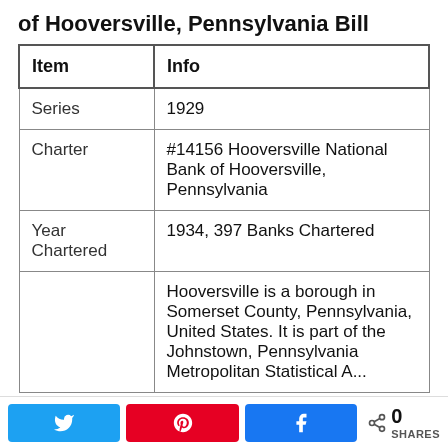of Hooversville, Pennsylvania Bill
| Item | Info |
| --- | --- |
| Series | 1929 |
| Charter | #14156 Hooversville National Bank of Hooversville, Pennsylvania |
| Year Chartered | 1934, 397 Banks Chartered |
|  | Hooversville is a borough in Somerset County, Pennsylvania, United States. It is part of the Johnstown, Pennsylvania Metropolitan Statistical Area. The |
Twitter Pinterest Facebook 0 SHARES